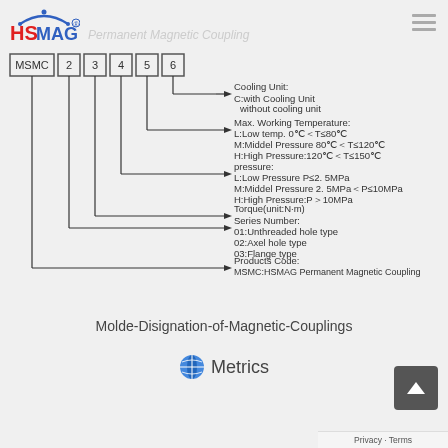[Figure (logo): HSMAG logo with red HS and blue MAG text and arc graphic]
[Figure (schematic): Model designation diagram for MSMC magnetic couplings showing code breakdown: MSMC [2][3][4][5][6] with arrows pointing to: Cooling Unit (C:with Cooling Unit / without cooling unit), Max. Working Temperature (L/M/H ranges), pressure (L/M/H ranges), Torque(unit:N·m), Series Number (01/02/03 types), Products Code (MSMC:HSMAG Permanent Magnetic Coupling)]
Molde-Disignation-of-Magnetic-Couplings
Metrics